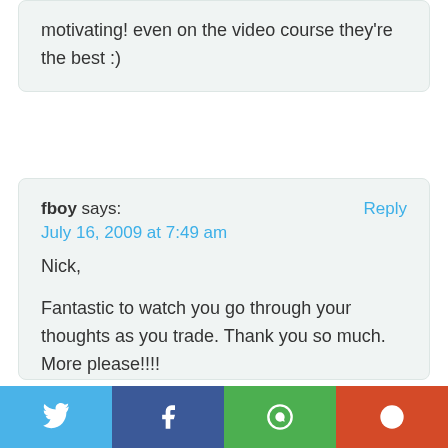motivating! even on the video course they're the best :)
fboy says: Reply
July 16, 2009 at 7:49 am
Nick,

Fantastic to watch you go through your thoughts as you trade. Thank you so much. More please!!!!